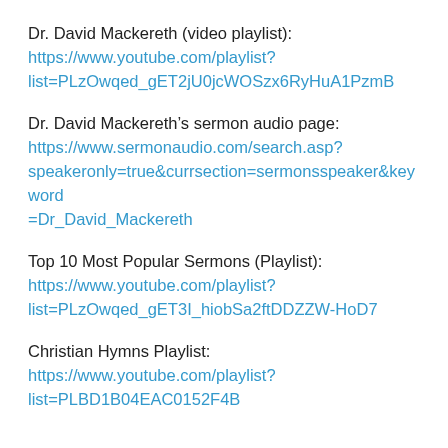Dr. David Mackereth (video playlist):
https://www.youtube.com/playlist?list=PLzOwqed_gET2jU0jcWOSzx6RyHuA1PzmB
Dr. David Mackereth’s sermon audio page:
https://www.sermonaudio.com/search.asp?speakeronly=true&currsection=sermonsspeaker&keyword=Dr_David_Mackereth
Top 10 Most Popular Sermons (Playlist):
https://www.youtube.com/playlist?list=PLzOwqed_gET3I_hiobSa2ftDDZZW-HoD7
Christian Hymns Playlist:
https://www.youtube.com/playlist?list=PLBD1B04EAC0152F4B